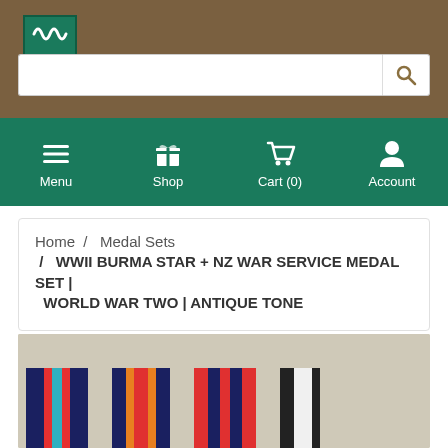[Figure (logo): Green shield/coat of arms logo at top left on brown background]
[Figure (screenshot): Search bar with magnifying glass icon on brown header background]
[Figure (infographic): Green navigation bar with Menu (hamburger), Shop (gift), Cart (0) (shopping cart), and Account (person) icons]
Home / Medal Sets / WWII BURMA STAR + NZ WAR SERVICE MEDAL SET | WORLD WAR TWO | ANTIQUE TONE
[Figure (photo): Product photo showing multiple WWII medal ribbon sets laid out on a beige/tan surface. From left to right: navy/blue/teal striped ribbon, orange/navy/red striped ribbon, red/blue/red striped ribbon, and white/black striped ribbon.]